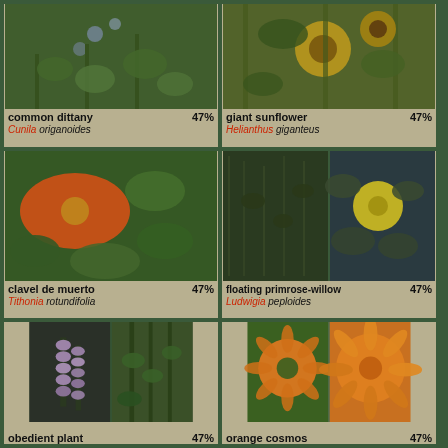[Figure (photo): Photo of common dittany plant with small blue-purple flowers and green stems]
common dittany 47%
Cunila origanoides
[Figure (photo): Photo of giant sunflower with yellow petals against green background]
giant sunflower 47%
Helianthus giganteus
[Figure (photo): Photo of clavel de muerto, Tithonia rotundifolia, with large orange flower and green leaves]
clavel de muerto 47%
Tithonia rotundifolia
[Figure (photo): Two photos of floating primrose-willow, Ludwigia peploides, small plant and yellow flower with green leaves]
floating primrose-willow 47%
Ludwigia peploides
[Figure (photo): Two photos of obedient plant with purple flower spikes and green stems]
obedient plant 47%
[Figure (photo): Two photos of orange cosmos flowers]
orange cosmos 47%